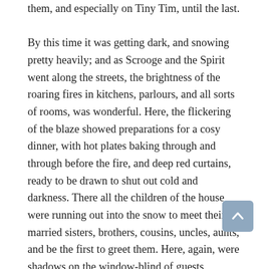them, and especially on Tiny Tim, until the last.

By this time it was getting dark, and snowing pretty heavily; and as Scrooge and the Spirit went along the streets, the brightness of the roaring fires in kitchens, parlours, and all sorts of rooms, was wonderful. Here, the flickering of the blaze showed preparations for a cosy dinner, with hot plates baking through and through before the fire, and deep red curtains, ready to be drawn to shut out cold and darkness. There all the children of the house were running out into the snow to meet their married sisters, brothers, cousins, uncles, aunts, and be the first to greet them. Here, again, were shadows on the window-blind of guests assembling; and there a group of handsome girls, all hooded and fur-booted, and all chattering at once, tripped lightly off to some near neighbor's house; where, woe upon the single man who saw them enter—artful witches, well they knew it—in a glow!

But, if you had judged from the numbers of people on their